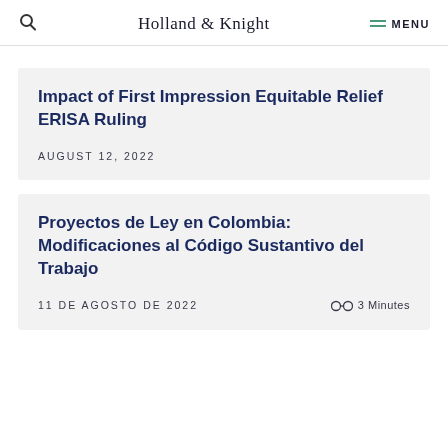Holland & Knight  MENU
Impact of First Impression Equitable Relief ERISA Ruling
AUGUST 12, 2022
Proyectos de Ley en Colombia: Modificaciones al Código Sustantivo del Trabajo
11 DE AGOSTO DE 2022   3 Minutes